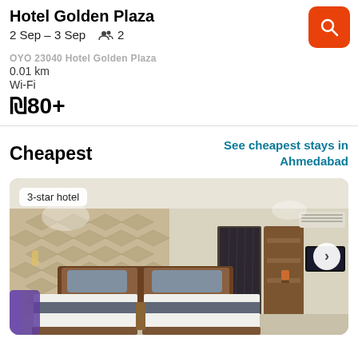Hotel Golden Plaza
2 Sep – 3 Sep   👥 2
OYO 23040 Hotel Golden Plaza
0.01 km
Wi-Fi
₪80+
Cheapest
See cheapest stays in Ahmedabad
[Figure (photo): Hotel room photo showing two beds with dark grey bedding, decorative 3D-paneled wall, wooden headboard, shelving unit, TV on wall, AC unit, and dark curtains. Label: 3-star hotel]